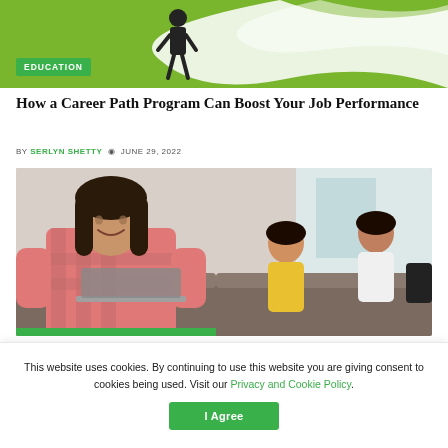[Figure (illustration): Green banner with a person in dark clothing walking, white swoosh/wave graphic element, on a green background with an EDUCATION badge overlay]
How a Career Path Program Can Boost Your Job Performance
BY SERLYN SHETTY  JUNE 29, 2022
[Figure (photo): A smiling young woman in a plaid shirt working on a laptop, with two other students in the background in a lounge/study area]
This website uses cookies. By continuing to use this website you are giving consent to cookies being used. Visit our Privacy and Cookie Policy.
I Agree